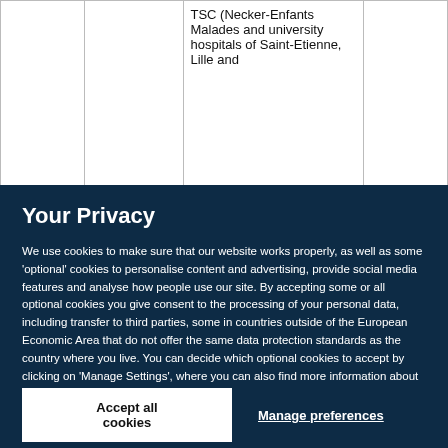|  |  | TSC (Necker-Enfants Malades and university hospitals of Saint-Etienne, Lille and |  |
Your Privacy
We use cookies to make sure that our website works properly, as well as some 'optional' cookies to personalise content and advertising, provide social media features and analyse how people use our site. By accepting some or all optional cookies you give consent to the processing of your personal data, including transfer to third parties, some in countries outside of the European Economic Area that do not offer the same data protection standards as the country where you live. You can decide which optional cookies to accept by clicking on 'Manage Settings', where you can also find more information about how your personal data is processed. Further information can be found in our privacy policy.
Accept all cookies
Manage preferences